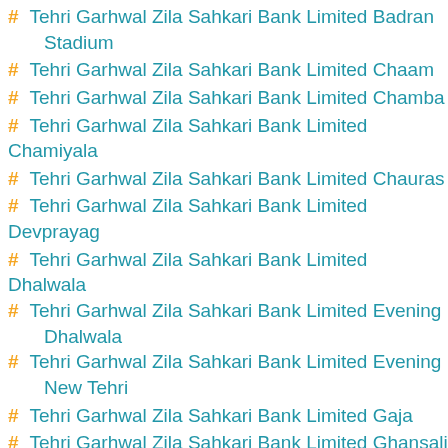# Tehri Garhwal Zila Sahkari Bank Limited Badran Stadium
# Tehri Garhwal Zila Sahkari Bank Limited Chaam
# Tehri Garhwal Zila Sahkari Bank Limited Chamba
# Tehri Garhwal Zila Sahkari Bank Limited Chamiyala
# Tehri Garhwal Zila Sahkari Bank Limited Chauras
# Tehri Garhwal Zila Sahkari Bank Limited Devprayag
# Tehri Garhwal Zila Sahkari Bank Limited Dhalwala
# Tehri Garhwal Zila Sahkari Bank Limited Evening Dhalwala
# Tehri Garhwal Zila Sahkari Bank Limited Evening New Tehri
# Tehri Garhwal Zila Sahkari Bank Limited Gaja
# Tehri Garhwal Zila Sahkari Bank Limited Ghansali
# Tehri Garhwal Zila Sahkari Bank Limited Hill Campus
# Tehri Garhwal Zila Sahkari Bank Limited Hindolakhal